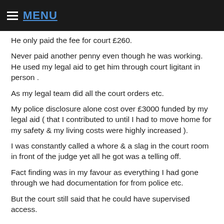MENU
He only paid the fee for court £260.
Never paid another penny even though he was working. He used my legal aid to get him through court ligitant in person .
As my legal team did all the court orders etc.
My police disclosure alone cost over £3000 funded by my legal aid ( that I contributed to until I had to move home for my safety & my living costs were highly increased ).
I was constantly called a whore & a slag in the court room in front of the judge yet all he got was a telling off.
Fact finding was in my favour as everything I had gone through we had documentation for from police etc.
But the court still said that he could have supervised access.
This put me and my child at further risk as the cafcass offices weren't safe for me to attend I fought all the way to try stop any contact suggesting indirect contact, yet the history and